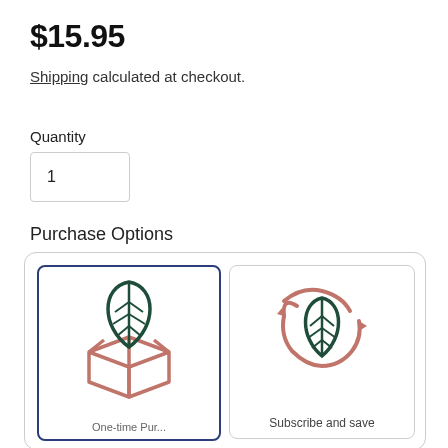$15.95
Shipping calculated at checkout.
Quantity
1
Purchase Options
[Figure (illustration): Two purchase option cards side by side. Left card (selected, blue border) shows a leaf over an open box icon in dark green and terracotta/rose. Right card shows a leaf with circular arrows (subscribe and save) icon in dark green and terracotta/rose. Text below right icon reads 'Subscribe and save'.]
Subscribe and save